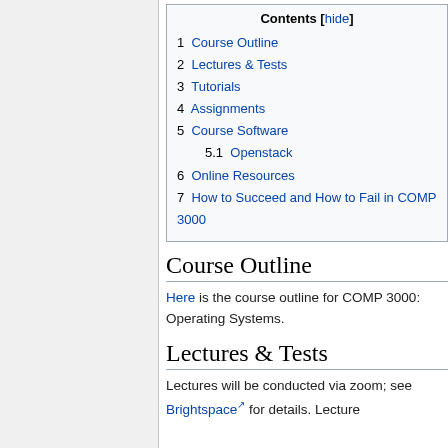| # | Section |
| --- | --- |
| 1 | Course Outline |
| 2 | Lectures & Tests |
| 3 | Tutorials |
| 4 | Assignments |
| 5 | Course Software |
| 5.1 | Openstack |
| 6 | Online Resources |
| 7 | How to Succeed and How to Fail in COMP 3000 |
Course Outline
Here is the course outline for COMP 3000: Operating Systems.
Lectures & Tests
Lectures will be conducted via zoom; see Brightspace for details. Lecture